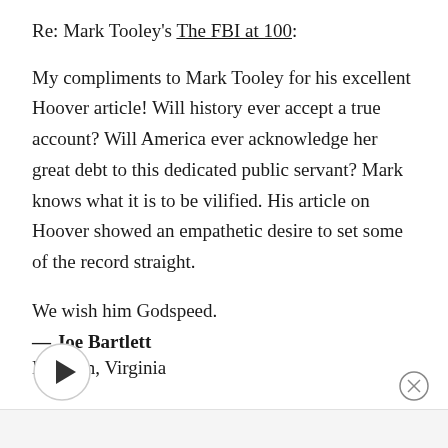Re: Mark Tooley's The FBI at 100:
My compliments to Mark Tooley for his excellent Hoover article! Will history ever accept a true account? Will America ever acknowledge her great debt to this dedicated public servant? Mark knows what it is to be vilified. His article on Hoover showed an empathetic desire to set some of the record straight.
We wish him Godspeed.
— Joe Bartlett
McLean, Virginia